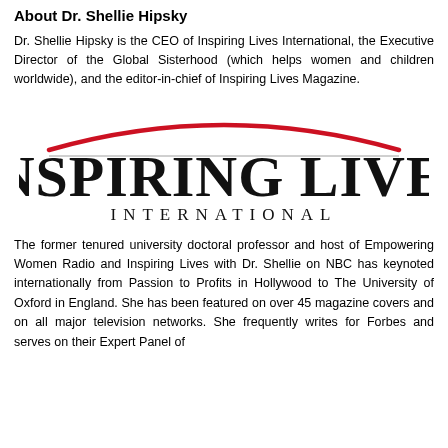About Dr. Shellie Hipsky
Dr. Shellie Hipsky is the CEO of Inspiring Lives International, the Executive Director of the Global Sisterhood (which helps women and children worldwide), and the editor-in-chief of Inspiring Lives Magazine.
[Figure (logo): Inspiring Lives International logo with red arc and bold black text]
The former tenured university doctoral professor and host of Empowering Women Radio and Inspiring Lives with Dr. Shellie on NBC has keynoted internationally from Passion to Profits in Hollywood to The University of Oxford in England. She has been featured on over 45 magazine covers and on all major television networks. She frequently writes for Forbes and serves on their Expert Panel of